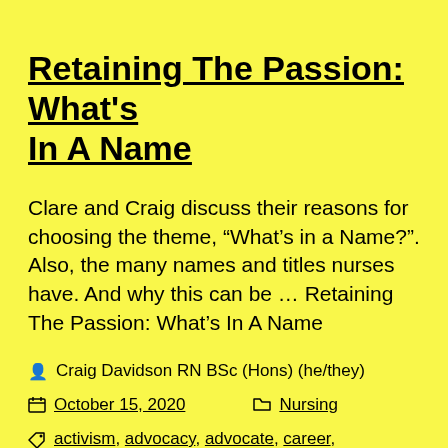Retaining The Passion: What's In A Name
Clare and Craig discuss their reasons for choosing the theme, “What’s in a Name?”. Also, the many names and titles nurses have. And why this can be … Retaining The Passion: What’s In A Name
Craig Davidson RN BSc (Hons) (he/they)
October 15, 2020   Nursing
activism, advocacy, advocate, career, career development, development, friends, mental health,